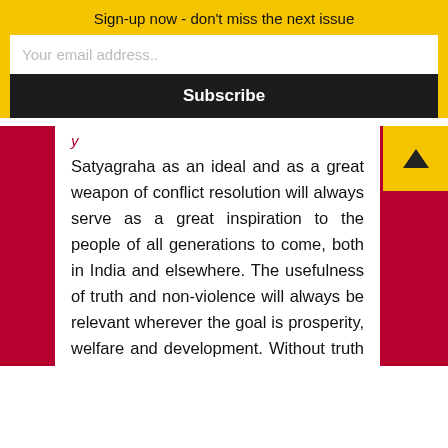Sign-up now - don't miss the next issue
Your email address..
Subscribe
Satyagraha as an ideal and as a great weapon of conflict resolution will always serve as a great inspiration to the people of all generations to come, both in India and elsewhere. The usefulness of truth and non-violence will always be relevant wherever the goal is prosperity, welfare and development. Without truth and non-violence there cannot be peace and without peace there cannot be development. Satyagraha in some form or the other was adopted by various sets of people